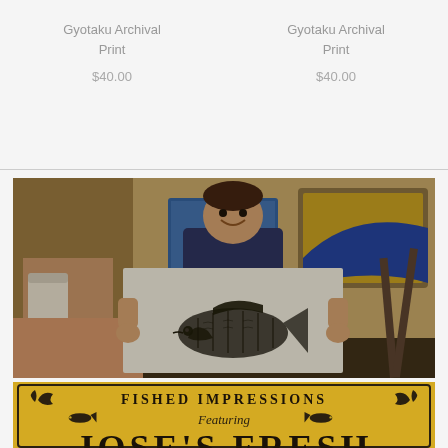Gyotaku Archival Print
$40.00
Gyotaku Archival Print
$40.00
[Figure (photo): A young boy holding up a large white paper with a gyotaku (fish print) impression of a striped bass, in an art studio setting with framed artwork visible in the background.]
[Figure (photo): A decorative banner/sign reading 'FISHED IMPRESSIONS Featuring' with fish illustrations on a yellow/gold background, partially visible at the bottom of the page.]